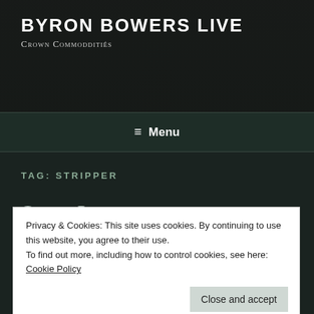BYRON BOWERS LIVE
Crown Commodditiés
≡ Menu
TAG: STRIPPER
Classic Porn
I found this in the restroom of Madame Cora's Marble
Privacy & Cookies: This site uses cookies. By continuing to use this website, you agree to their use.
To find out more, including how to control cookies, see here: Cookie Policy
Close and accept